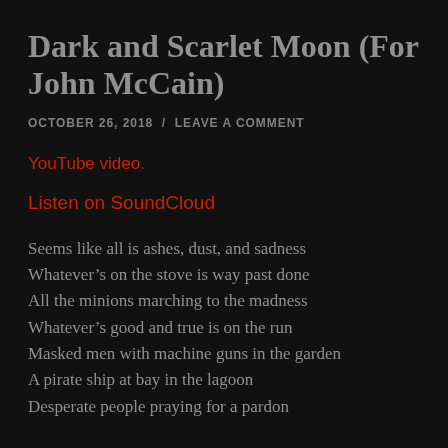Dark and Scarlet Moon (For John McCain)
OCTOBER 26, 2018  /  LEAVE A COMMENT
YouTube video.
Listen on SoundCloud
Seems like all is ashes, dust, and sadness
Whatever's on the stove is way past done
All the minions marching to the madness
Whatever's good and true is on the run
Masked men with machine guns in the garden
A pirate ship at bay in the lagoon
Desperate people praying for a pardon